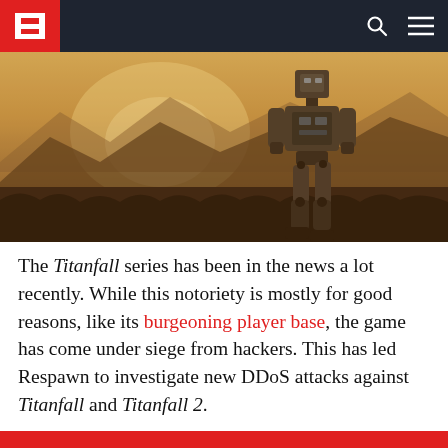Respawn Titanfall DDoS hacker news article header navigation
[Figure (photo): A large mech/robot standing in tall golden grass with misty mountains in the background, backlit by a warm hazy sky — screenshot from Titanfall game]
The Titanfall series has been in the news a lot recently. While this notoriety is mostly for good reasons, like its burgeoning player base, the game has come under siege from hackers. This has led Respawn to investigate new DDoS attacks against Titanfall and Titanfall 2.